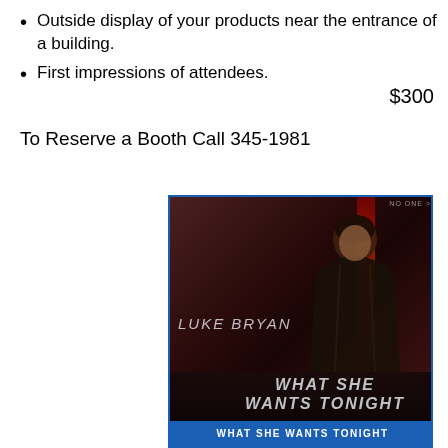Outside display of your products near the entrance of a building.
First impressions of attendees.
$300
To Reserve a Booth Call 345-1981
[Figure (photo): Music single cover for Luke Bryan 'What She Wants Tonight' showing artist in dark jacket against a dark reddish background, with text 'LUKE BRYAN' and 'WHAT SHE WANTS TONIGHT' and a blue banner at the bottom reading 'WHAT SHE WANTS TONIGHT']